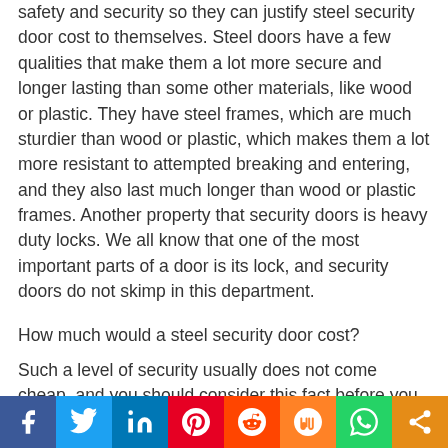safety and security so they can justify steel security door cost to themselves. Steel doors have a few qualities that make them a lot more secure and longer lasting than some other materials, like wood or plastic. They have steel frames, which are much sturdier than wood or plastic, which makes them a lot more resistant to attempted breaking and entering, and they also last much longer than wood or plastic frames. Another property that security doors is heavy duty locks. We all know that one of the most important parts of a door is its lock, and security doors do not skimp in this department.
How much would a steel security door cost?
Such a level of security usually does not come cheap, and you should consider this fact before you decide to opt for a
Facebook Twitter LinkedIn Pinterest Reddit Mix WhatsApp Share